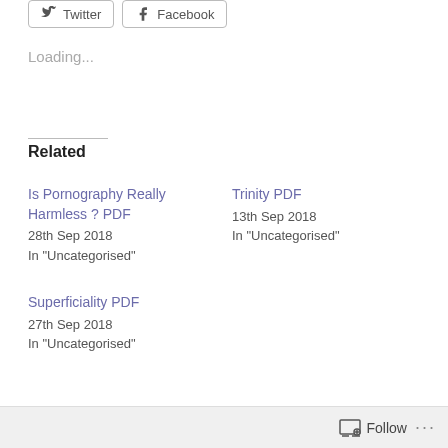[Figure (other): Twitter and Facebook social share buttons at top]
Loading...
Related
Is Pornography Really Harmless ? PDF
28th Sep 2018
In "Uncategorised"
Trinity PDF
13th Sep 2018
In "Uncategorised"
Superficiality PDF
27th Sep 2018
In "Uncategorised"
Follow ...